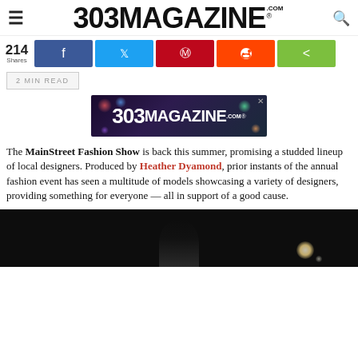303MAGAZINE.COM
[Figure (screenshot): Social share bar with 214 Shares, Facebook, Twitter, Pinterest, Reddit, and generic share buttons]
2 MIN READ
[Figure (logo): 303 Magazine advertisement banner with colorful bokeh background]
The MainStreet Fashion Show is back this summer, promising a studded lineup of local designers. Produced by Heather Dyamond, prior instants of the annual fashion event has seen a multitude of models showcasing a variety of designers, providing something for everyone — all in support of a good cause.
[Figure (photo): Dark photo of a person on stage at a fashion show, with a glowing light in the background]